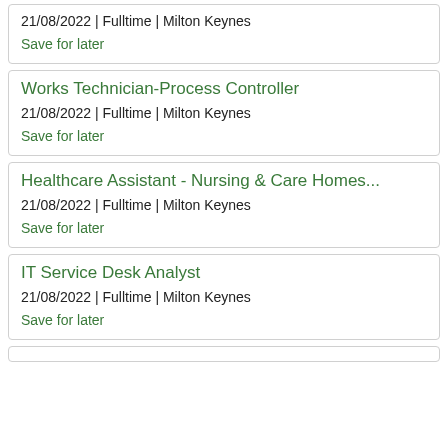21/08/2022 | Fulltime | Milton Keynes
Save for later
Works Technician-Process Controller
21/08/2022 | Fulltime | Milton Keynes
Save for later
Healthcare Assistant - Nursing & Care Homes...
21/08/2022 | Fulltime | Milton Keynes
Save for later
IT Service Desk Analyst
21/08/2022 | Fulltime | Milton Keynes
Save for later